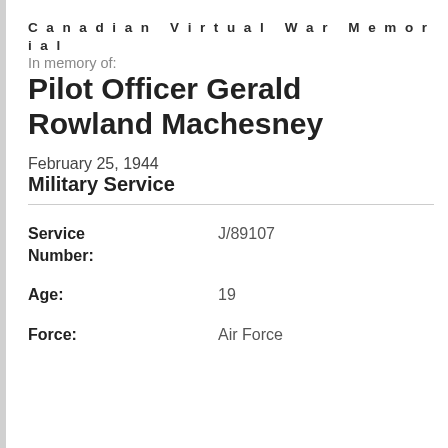Canadian Virtual War Memorial
In memory of:
Pilot Officer Gerald Rowland Machesney
February 25, 1944
Military Service
| Field | Value |
| --- | --- |
| Service Number: | J/89107 |
| Age: | 19 |
| Force: | Air Force |